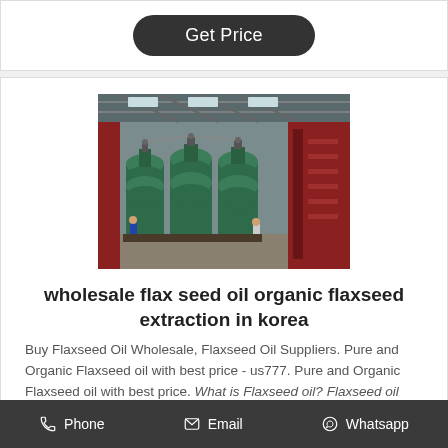Get Price
[Figure (photo): Industrial oil extraction machinery inside a large factory/warehouse. Green hydraulic press machines in the center, large red industrial columns on the right, workers visible in the background.]
wholesale flax seed oil organic flaxseed extraction in korea
Buy Flaxseed Oil Wholesale, Flaxseed Oil Suppliers. Pure and Organic Flaxseed oil with best price - us777. Pure and Organic Flaxseed oil with best price. What is Flaxseed oil? Flaxseed oil
Phone   Email   Whatsapp